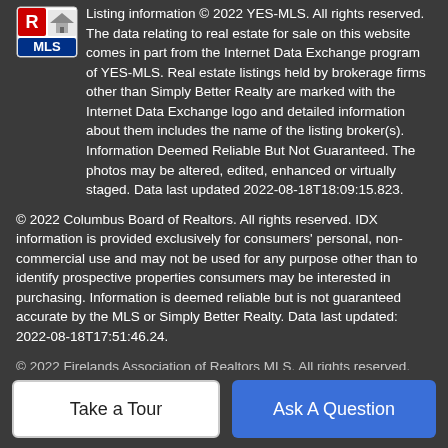[Figure (logo): YES-MLS / REALTOR MLS logo badge]
Listing information © 2022 YES-MLS. All rights reserved. The data relating to real estate for sale on this website comes in part from the Internet Data Exchange program of YES-MLS. Real estate listings held by brokerage firms other than Simply Better Realty are marked with the Internet Data Exchange logo and detailed information about them includes the name of the listing broker(s). Information Deemed Reliable But Not Guaranteed. The photos may be altered, edited, enhanced or virtually staged. Data last updated 2022-08-18T18:09:15.823.
© 2022 Columbus Board of Realtors. All rights reserved. IDX information is provided exclusively for consumers' personal, non-commercial use and may not be used for any purpose other than to identify prospective properties consumers may be interested in purchasing. Information is deemed reliable but is not guaranteed accurate by the MLS or Simply Better Realty. Data last updated: 2022-08-18T17:51:46.24.
© 2022 Firelands Association of Realtors MLS. All rights reserved.
Take a Tour
Ask A Question